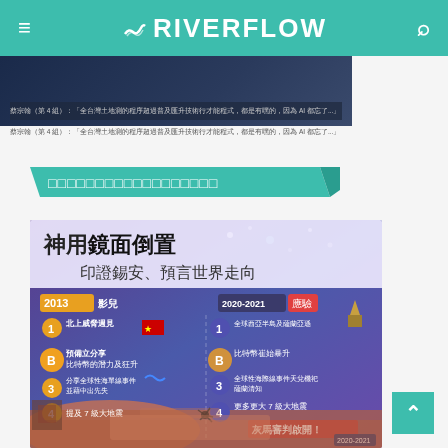RIVERFLOW
[Figure (screenshot): Partial dark blue article banner image with Chinese caption text below]
蔡宗翰（第 4 組）：「全台灣土地測的程序超過普及匯升技術行才能程式，都是有嘿的，因為 AI 都忘了...」
□□□□□□□□□□□□□□□□□□
[Figure (infographic): Infographic titled '神用鏡面倒置 印證錫安、預言世界走向' comparing 2013 predictions (影兒) with 2020-2021 reality (應驗). Four predictions listed on each side including events about China, Bitcoin, global disasters, and earthquakes.]